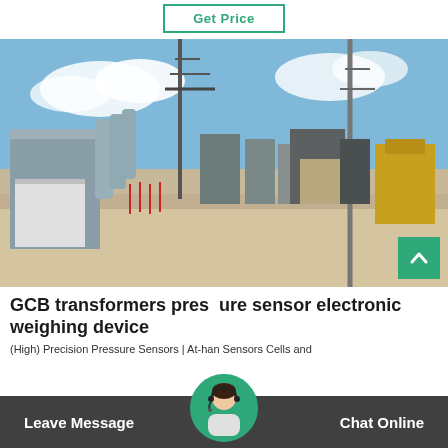Get Price
[Figure (photo): Outdoor electrical substation with large transformers, high-voltage equipment, power line towers, and industrial structures under a partly cloudy sky]
GCB transformers pressure sensor electronic weighing device
(High) Precision Pressure Sensors | At-han Sensors Cells and
Leave Message   Chat Online